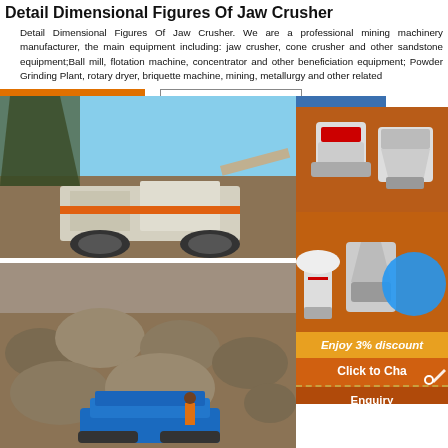Detail Dimensional Figures Of Jaw Crusher
Detail Dimensional Figures Of Jaw Crusher. We are a professional mining machinery manufacturer, the main equipment including: jaw crusher, cone crusher and other sandstone equipment;Ball mill, flotation machine, concentrator and other beneficiation equipment; Powder Grinding Plant, rotary dryer, briquette machine, mining, metallurgy and other related
[Figure (photo): Mobile jaw crusher machine working at a quarry/mining site with excavator in background]
[Figure (photo): Orange sidebar with mining equipment images including cone crusher and ball mill, with Enjoy 3% discount, Click to Chat, and Enquiry CTAs]
[Figure (photo): Quarry/excavation site with rocks and blue tracked mobile screening/crushing equipment]